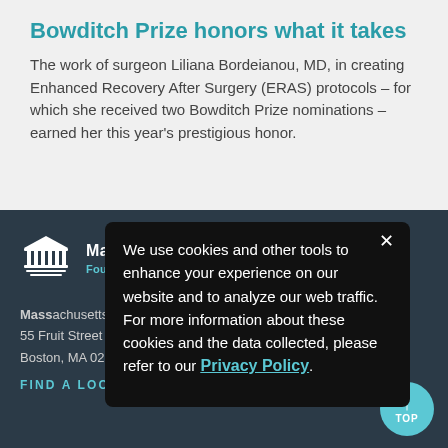Bowditch Prize honors what it takes
The work of surgeon Liliana Bordeianou, MD, in creating Enhanced Recovery After Surgery (ERAS) protocols – for which she received two Bowditch Prize nominations – earned her this year's prestigious honor.
[Figure (logo): Massachusetts General Hospital building/columns logo icon in white]
Massachusetts General Hospital
Founding Member, Mass General Brigham
Massachusetts General Hospital
55 Fruit Street
Boston, MA 02114
FIND A LOCATION ›
We use cookies and other tools to enhance your experience on our website and to analyze our web traffic. For more information about these cookies and the data collected, please refer to our Privacy Policy.